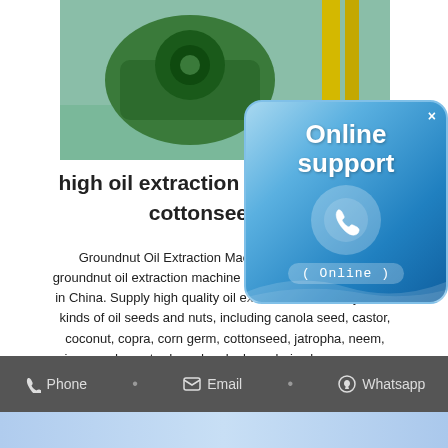[Figure (photo): Industrial oil extraction machine (green machinery) in a factory setting with yellow pillars. Date stamp '2009/0...' visible.]
[Figure (infographic): Online support badge - blue rounded square with phone icon, text 'Online support' and '( Online )' label at bottom.]
high oil extraction equipment sh... cottonseed oil
Groundnut Oil Extraction Machine abcmach. BEST groundnut oil extraction machine manufacturer and exporter in China. Supply high quality oil extraction machinery for all kinds of oil seeds and nuts, including canola seed, castor, coconut, copra, corn germ, cottonseed, jatropha, neem, niger seed, mustard seed, palm kernel, rice bran, sesame, soybean, sunflower seed and so on.
Get Price
Phone • Email • Whatsapp